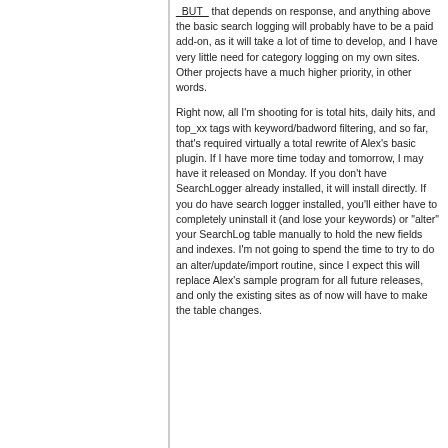_BUT_ that depends on response, and anything above the basic search logging will probably have to be a paid add-on, as it will take a lot of time to develop, and I have very little need for category logging on my own sites. Other projects have a much higher priority, in other words.
Right now, all I'm shooting for is total hits, daily hits, and top_xx tags with keyword/badword filtering, and so far, that's required virtually a total rewrite of Alex's basic plugin. If I have more time today and tomorrow, I may have it released on Monday. If you don't have SearchLogger already installed, it will install directly. If you do have search logger installed, you'll either have to completely uninstall it (and lose your keywords) or "alter" your SearchLog table manually to hold the new fields and indexes. I'm not going to spend the time to try to do an alter/update/import routine, since I expect this will replace Alex's sample program for all future releases, and only the existing sites as of now will have to make the table changes.